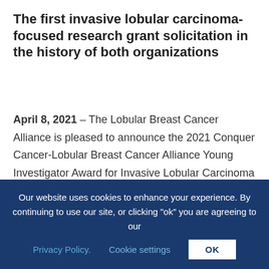The first invasive lobular carcinoma-focused research grant solicitation in the history of both organizations
April 8, 2021 – The Lobular Breast Cancer Alliance is pleased to announce the 2021 Conquer Cancer-Lobular Breast Cancer Alliance Young Investigator Award for Invasive Lobular Carcinoma Research. Conquer Cancer, the ASCO Foundation, and the Lobular Breast Cancer Alliance will award a one-year grant in the amount of $50,000 to the most
Our website uses cookies to enhance your experience. By continuing to use our site, or clicking "ok" you are agreeing to our Privacy Policy. Cookie settings OK